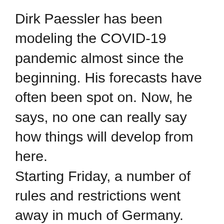Dirk Paessler has been modeling the COVID-19 pandemic almost since the beginning. His forecasts have often been spot on. Now, he says, no one can really say how things will develop from here. Starting Friday, a number of rules and restrictions went away in much of Germany. That means no more masks in most shops, and no more proof of vaccination or day-of test in restaurants. Though some public transportation systems, individual businesses and institutions will keep mask requirements in place, the move to drop the majority of mandates tracks with many of Germany's neighbors.